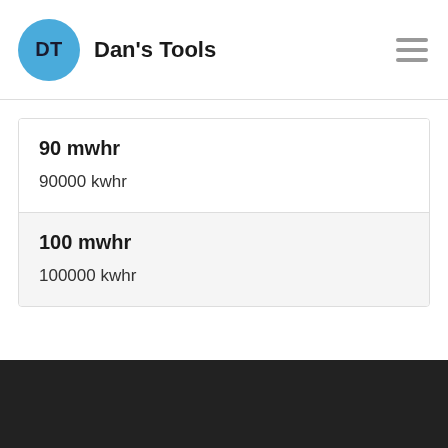DT Dan's Tools
90 mwhr
90000 kwhr
100 mwhr
100000 kwhr